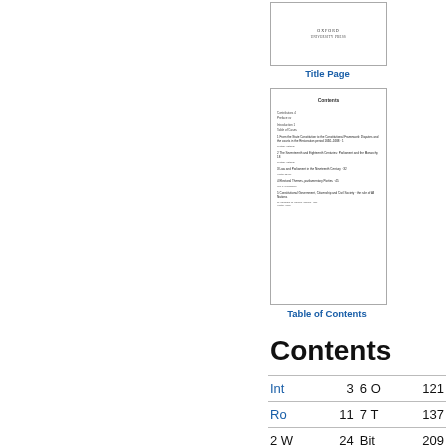[Figure (illustration): Thumbnail image of a book title page with Oxford University Press logo]
Title Page
[Figure (illustration): Thumbnail image of a Table of Contents page with chapter listings]
Table of Contents
Contents
| Chapter | Page | Chapter | Page |
| --- | --- | --- | --- |
| Int | 3 | 6 O | 121 |
| Ro | 11 | 7 T | 137 |
| 2 W | 24 | Bit | 209 |
| 3 L | 52 | Inc | 229 |